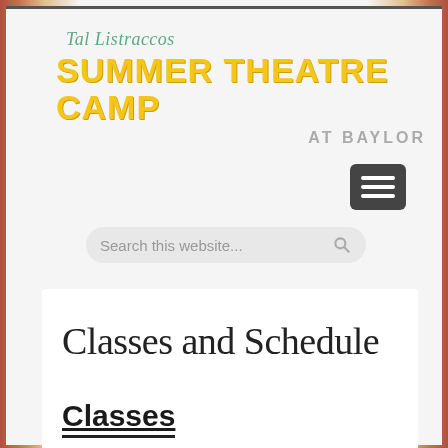[Figure (logo): Tal Listraccos Summer Theatre Camp at Baylor logo with script text in teal and bold yellow uppercase letters]
[Figure (screenshot): Hamburger menu button (three horizontal lines) in dark gray rounded rectangle]
[Figure (screenshot): Search bar with placeholder text 'Search this website...' and search icon]
Classes and Schedule
Classes